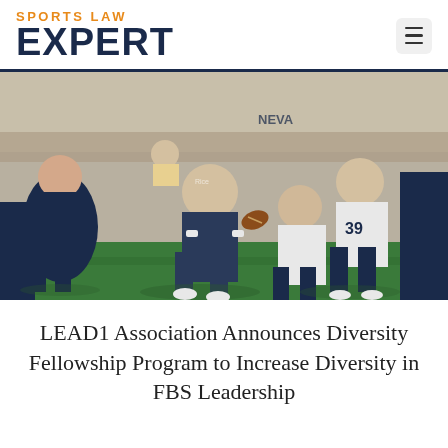SPORTS LAW EXPERT
[Figure (photo): American football game action shot showing players in navy blue and white uniforms during a play, with one player carrying the football while being tackled by opposing team players on a green field. Jersey number 39 visible in background.]
LEAD1 Association Announces Diversity Fellowship Program to Increase Diversity in FBS Leadership